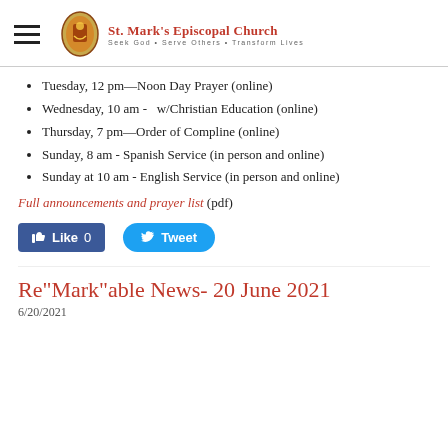St. Mark's Episcopal Church — Seek God • Serve Others • Transform Lives
Tuesday, 12 pm—Noon Day Prayer (online)
Wednesday, 10 am - w/Christian Education (online)
Thursday, 7 pm—Order of Compline (online)
Sunday, 8 am - Spanish Service (in person and online)
Sunday at 10 am - English Service (in person and online)
Full announcements and prayer list (pdf)
[Figure (other): Facebook Like button (0 likes) and Twitter Tweet button]
Re"Mark"able News- 20 June 2021
6/20/2021